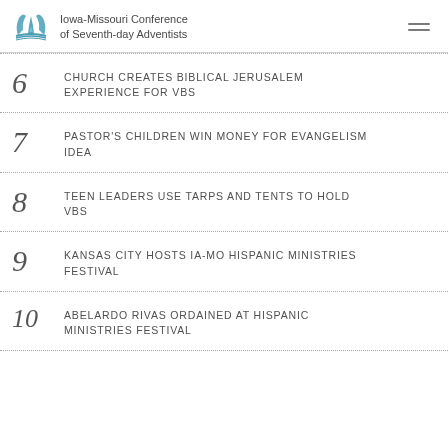Iowa-Missouri Conference of Seventh-day Adventists
6 CHURCH CREATES BIBLICAL JERUSALEM EXPERIENCE FOR VBS
7 PASTOR'S CHILDREN WIN MONEY FOR EVANGELISM IDEA
8 TEEN LEADERS USE TARPS AND TENTS TO HOLD VBS
9 KANSAS CITY HOSTS IA-MO HISPANIC MINISTRIES FESTIVAL
10 ABELARDO RIVAS ORDAINED AT HISPANIC MINISTRIES FESTIVAL